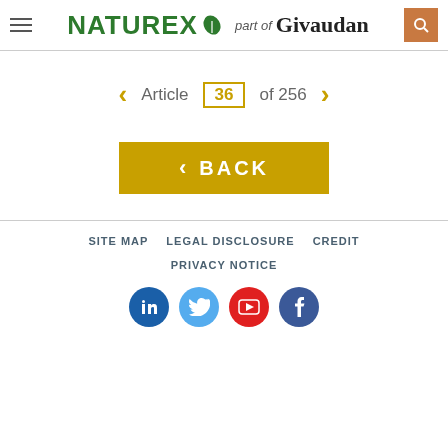NATUREX part of Givaudan
Article 36 of 256
BACK
SITE MAP   LEGAL DISCLOSURE   CREDIT   PRIVACY NOTICE
[Figure (other): Social media icons: LinkedIn, Twitter, YouTube, Facebook]